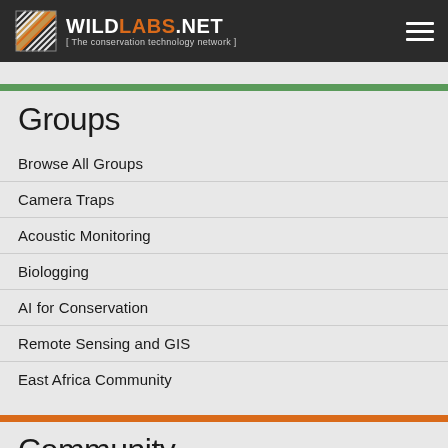WILDLABS.NET [ The conservation technology network ]
Groups
Browse All Groups
Camera Traps
Acoustic Monitoring
Biologging
AI for Conservation
Remote Sensing and GIS
East Africa Community
Community
Welcome to WILDLABS